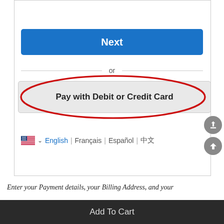Forgot email?
[Figure (screenshot): Blue 'Next' button on a white background]
or
[Figure (screenshot): Gray 'Pay with Debit or Credit Card' button with a red ellipse highlight drawn around it]
English | Français | Español | 中文
Enter your Payment details, your Billing Address, and your
Add To Cart